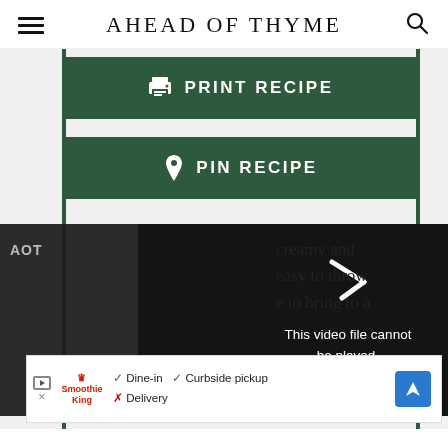AHEAD OF THYME
[Figure (screenshot): Green PRINT RECIPE button with printer icon]
[Figure (screenshot): Green PIN RECIPE button with Pinterest icon]
[Figure (screenshot): Video player showing error: This video file cannot be played. (Error Code: 224003)]
creamy and easy to throw e to bring to a
[Figure (screenshot): Advertisement banner: Smoothie King - Dine-in, Curbside pickup, Delivery options]